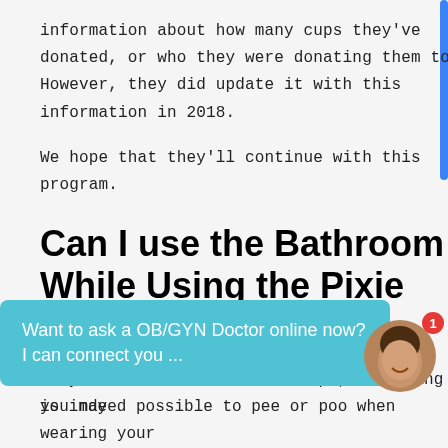information about how many cups they've donated, or who they were donating them to. However, they did update it with this information in 2018.
We hope that they'll continue with this program.
Can I use the Bathroom While Using the Pixie Menstrual Cup?
If you're new to menstrual cups, something you may
[Figure (other): Chat widget overlay with teal background reading 'Want to ask a OB/GYN Doctor online now? I can connect you ...' with a circular avatar photo of a woman and a red notification badge showing '1']
is indeed possible to pee or poo when wearing your